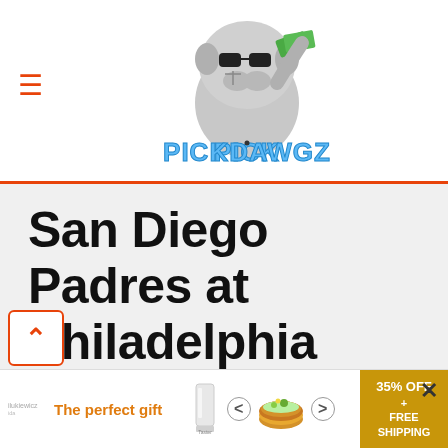PickDawgz
San Diego Padres at Philadelphia Phillies: 5/18/22 MLB Picks and Prediction
[Figure (photo): Dark sports photo strip at bottom of page]
[Figure (infographic): Advertisement banner: The perfect gift, with carousel navigation arrows, bowl of food image, and 35% OFF + FREE SHIPPING offer box in gold]